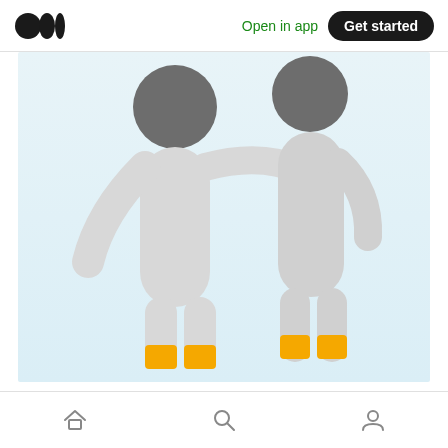Medium logo | Open in app | Get started
[Figure (illustration): Two gray stick figures with dark gray round heads standing side by side. The left figure has its arm around the right figure's shoulder. Both figures have orange/yellow shoes at the bottom. The background is a light blue-white gradient.]
Home icon | Search icon | Profile icon